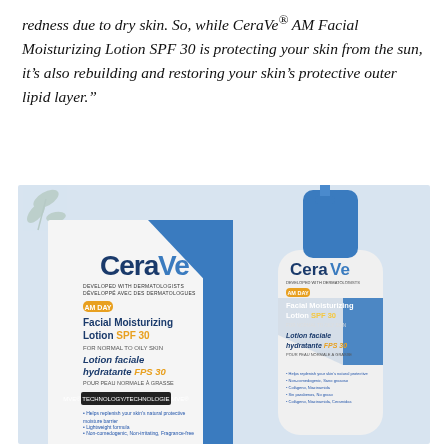redness due to dry skin. So, while CeraVe® AM Facial Moisturizing Lotion SPF 30 is protecting your skin from the sun, it's also rebuilding and restoring your skin's protective outer lipid layer."
[Figure (photo): Product photo of CeraVe Facial Moisturizing Lotion SPF 30 — showing the box packaging and bottle side by side on a light blue surface. The box shows the English name 'Facial Moisturizing Lotion SPF 30 for Normal to Oily Skin' and the French name 'Lotion faciale hydratante FPS 30 pour peau normale à grasse', along with MVE Technology branding and bullet point ingredients. The bottle has the same CeraVe branding with the blue cap and pump dispenser.]